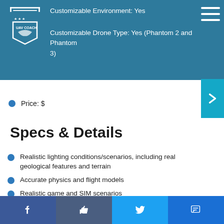Customizable Environment: Yes
Customizable Drone Type: Yes (Phantom 2 and Phantom 3)
Price: $
Specs & Details
Realistic lighting conditions/scenarios, including real geological features and terrain
Accurate physics and flight models
Realistic game and SIM scenarios
Software supports USB controllers, including with Xbox and Playstation controllers
Drone and pilot views
Facebook | Like | Twitter | Message